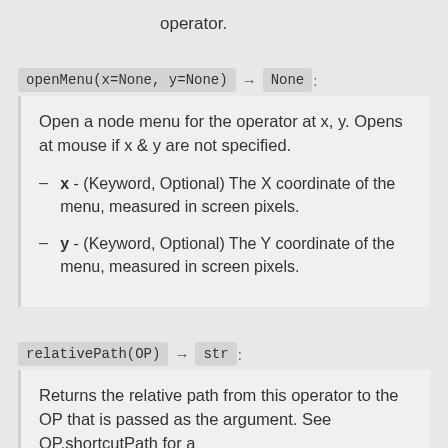operator.
openMenu(x=None, y=None) → None :
Open a node menu for the operator at x, y. Opens at mouse if x & y are not specified.
x - (Keyword, Optional) The X coordinate of the menu, measured in screen pixels.
y - (Keyword, Optional) The Y coordinate of the menu, measured in screen pixels.
relativePath(OP) → str :
Returns the relative path from this operator to the OP that is passed as the argument. See OP.shortcutPath for a